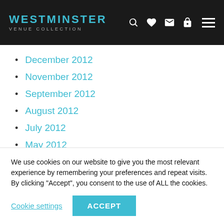WESTMINSTER VENUE COLLECTION
December 2012
November 2012
September 2012
August 2012
July 2012
May 2012
March 2012
February 2012
January 2012
We use cookies on our website to give you the most relevant experience by remembering your preferences and repeat visits. By clicking “Accept”, you consent to the use of ALL the cookies.
Cookie settings | ACCEPT